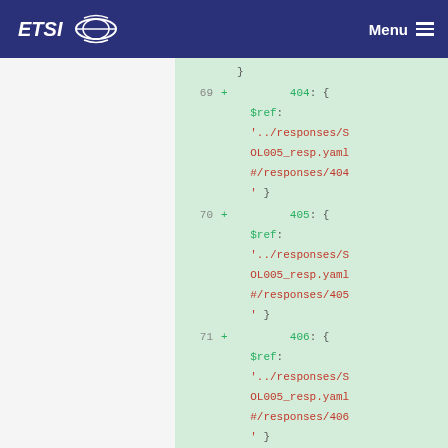ETSI | Menu
[Figure (screenshot): Code diff view showing YAML lines 69-72 with additions: lines showing 404, 405, 406, 413 response codes with $ref to '../responses/SOL005_resp.yaml#/responses/NNN']